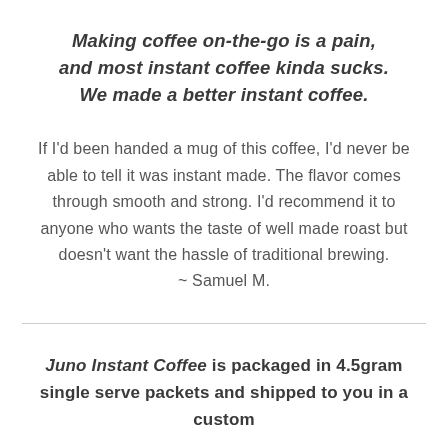Making coffee on-the-go is a pain, and most instant coffee kinda sucks. We made a better instant coffee.
If I'd been handed a mug of this coffee, I'd never be able to tell it was instant made. The flavor comes through smooth and strong. I'd recommend it to anyone who wants the taste of well made roast but doesn't want the hassle of traditional brewing. ~ Samuel M.
Juno Instant Coffee is packaged in 4.5gram single serve packets and shipped to you in a custom